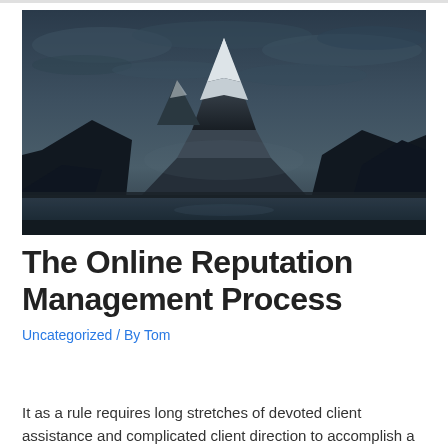[Figure (photo): Dark moody landscape photo of Mount Fuji with snow-capped peak reflected over a calm lake at dusk, with dramatic cloudy sky and dark mountain silhouettes in the foreground]
The Online Reputation Management Process
Uncategorized / By Tom
It as a rule requires long stretches of devoted client assistance and complicated client direction to accomplish a reading of